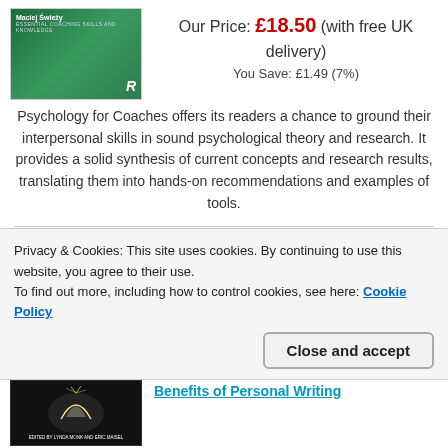[Figure (illustration): Book cover with green background, author name Maciej Swiezy, and Routledge logo]
Our Price: £18.50 (with free UK delivery)
You Save: £1.49 (7%)
Psychology for Coaches offers its readers a chance to ground their interpersonal skills in sound psychological theory and research. It provides a solid synthesis of current concepts and research results, translating them into hands-on recommendations and examples of tools.
[Figure (illustration): Teal/cyan colored book cover with Routledge logo]
Transformation...
Privacy & Cookies: This site uses cookies. By continuing to use this website, you agree to their use.
To find out more, including how to control cookies, see here: Cookie Policy
[Figure (photo): Dark book cover showing glowing open book, edited by Lynda Monk and Eric Maisel]
Benefits of Personal Writing